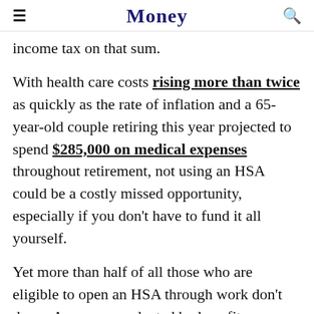Money
income tax on that sum.
With health care costs rising more than twice as quickly as the rate of inflation and a 65-year-old couple retiring this year projected to spend $285,000 on medical expenses throughout retirement, not using an HSA could be a costly missed opportunity, especially if you don't have to fund it all yourself.
Yet more than half of all those who are eligible to open an HSA through work don't do so. A survey conducted by benefits